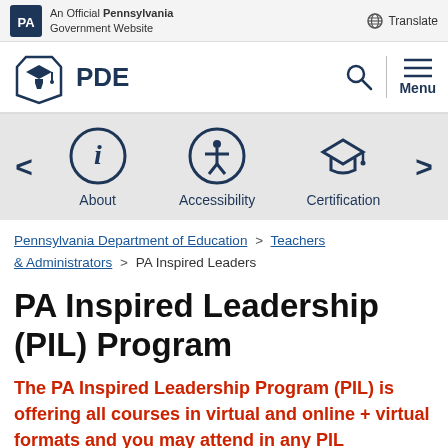An Official Pennsylvania Government Website | Translate
[Figure (logo): PDE Pennsylvania Department of Education logo with keystone icon, search and menu icons]
[Figure (infographic): Navigation icon bar with About (info icon), Accessibility (person icon), Certification (graduation cap icon), and left/right arrows]
Pennsylvania Department of Education > Teachers & Administrators > PA Inspired Leaders
PA Inspired Leadership (PIL) Program
The PA Inspired Leadership Program (PIL) is offering all courses in virtual and online + virtual formats and you may attend in any PIL